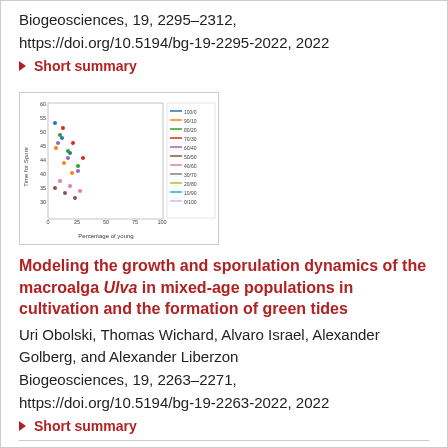Biogeosciences, 19, 2295–2312, https://doi.org/10.5194/bg-19-2295-2022, 2022
▶ Short summary
[Figure (scatter-plot): Small thumbnail scatter plot showing Time to Spore vs Percentage of young with colored lines/dots representing different categories in a legend]
Modeling the growth and sporulation dynamics of the macroalga Ulva in mixed-age populations in cultivation and the formation of green tides
Uri Obolski, Thomas Wichard, Alvaro Israel, Alexander Golberg, and Alexander Liberzon
Biogeosciences, 19, 2263–2271, https://doi.org/10.5194/bg-19-2263-2022, 2022
▶ Short summary
▶ More articles (45)